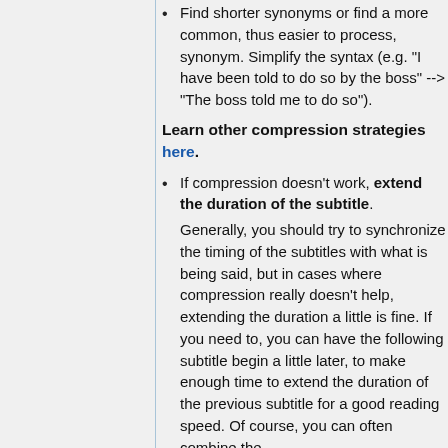Find shorter synonyms or find a more common, thus easier to process, synonym. Simplify the syntax (e.g. "I have been told to do so by the boss" --> "The boss told me to do so").
Learn other compression strategies here.
If compression doesn't work, extend the duration of the subtitle. Generally, you should try to synchronize the timing of the subtitles with what is being said, but in cases where compression really doesn't help, extending the duration a little is fine. If you need to, you can have the following subtitle begin a little later, to make enough time to extend the duration of the previous subtitle for a good reading speed. Of course, you can often combine the